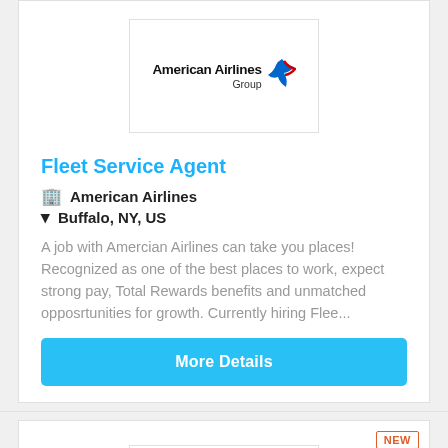[Figure (logo): American Airlines Group logo with stylized wing icon]
Fleet Service Agent
American Airlines
Buffalo, NY, US
A job with Amercian Airlines can take you places! Recognized as one of the best places to work, expect strong pay, Total Rewards benefits and unmatched opposrtunities for growth. Currently hiring Flee...
More Details
[Figure (logo): Second company logo box (empty/blank, with NEW badge)]